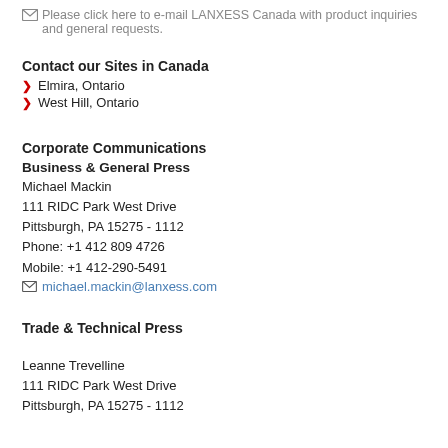✉ Please click here to e-mail LANXESS Canada with product inquiries and general requests.
Contact our Sites in Canada
Elmira, Ontario
West Hill, Ontario
Corporate Communications
Business & General Press
Michael Mackin
111 RIDC Park West Drive
Pittsburgh, PA 15275 - 1112
Phone: +1 412 809 4726
Mobile: +1 412-290-5491
✉ michael.mackin@lanxess.com
Trade & Technical Press
Leanne Trevelline
111 RIDC Park West Drive
Pittsburgh, PA 15275 - 1112